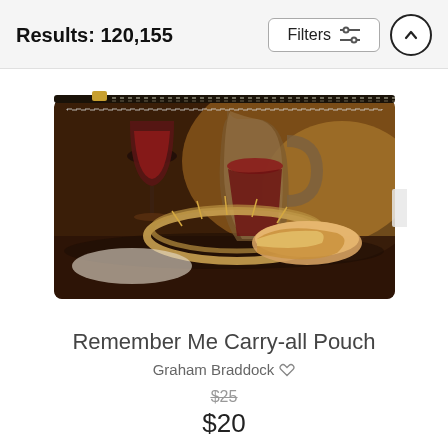Results: 120,155
[Figure (screenshot): Filters button with sliders icon and an up-arrow circle button in the header bar]
[Figure (photo): A carry-all pouch product featuring a painted artwork of wine glass, wine pitcher, crown of thorns, and bread on a dark background. The pouch has a gold zipper at the top.]
Remember Me Carry-all Pouch
Graham Braddock
$25 (strikethrough) $20